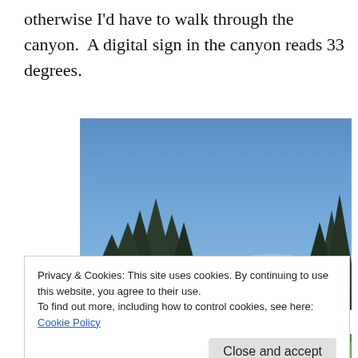otherwise I'd have to walk through the canyon.  A digital sign in the canyon reads 33 degrees.
[Figure (photo): Outdoor photo showing blue sky with evergreen/conifer trees on left and right sides, photographed from below looking upward.]
Privacy & Cookies: This site uses cookies. By continuing to use this website, you agree to their use.
To find out more, including how to control cookies, see here: Cookie Policy

Close and accept
[Figure (photo): Partial view of another outdoor photo at the bottom of the page.]